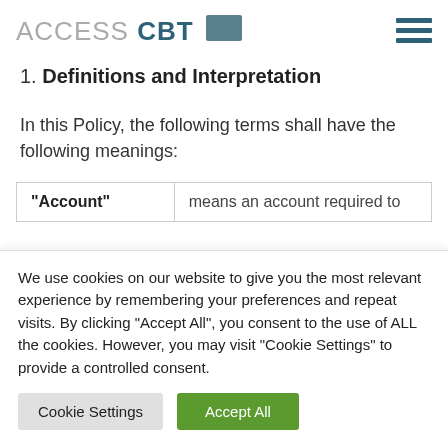ACCESS CBT [logo]
1. Definitions and Interpretation
In this Policy, the following terms shall have the following meanings:
| Term | Definition |
| --- | --- |
| "Account" | means an account required to |
We use cookies on our website to give you the most relevant experience by remembering your preferences and repeat visits. By clicking “Accept All”, you consent to the use of ALL the cookies. However, you may visit "Cookie Settings" to provide a controlled consent.